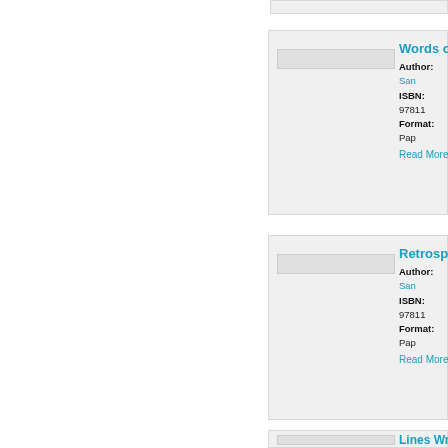[Figure (other): Book listing card 1: Words of... by Sam..., ISBN 97811..., Format: Pap..., Read More link]
[Figure (other): Book listing card 2: Retrospe... by Sam..., ISBN 97811..., Format: Pap..., Read More link]
[Figure (other): Book listing card 3 (partial): Lines Wr... by Sam..., ISBN 97811..., Format: Pap..., Read More link]